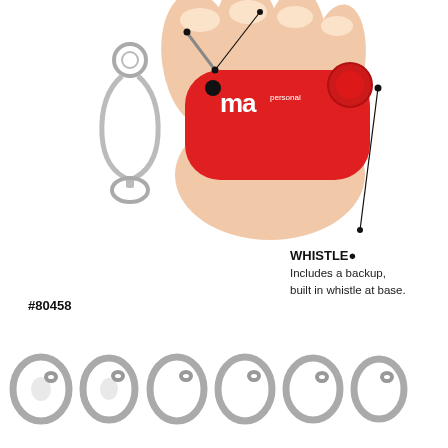[Figure (photo): A hand holding a small red personal alarm device with a metal swivel clip/carabiner attached. Annotation lines point to features on the device. The device shows the 'mace personal' brand logo.]
WHISTLE
Includes a backup, built in whistle at base.
#80458
[Figure (photo): A row of six small metal key rings / carabiner clips shown from the front against a white background.]